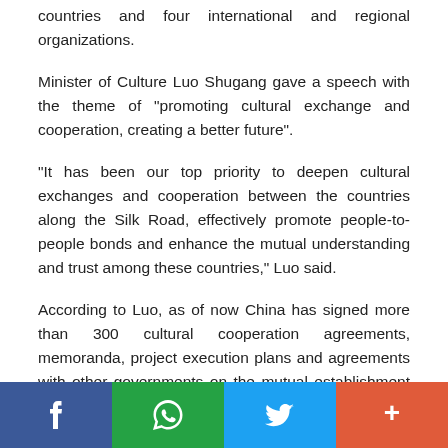countries and four international and regional organizations.
Minister of Culture Luo Shugang gave a speech with the theme of "promoting cultural exchange and cooperation, creating a better future".
"It has been our top priority to deepen cultural exchanges and cooperation between the countries along the Silk Road, effectively promote people-to-people bonds and enhance the mutual understanding and trust among these countries," Luo said.
According to Luo, as of now China has signed more than 300 cultural cooperation agreements, memoranda, project execution plans and agreements with other governments on the mutual establishment of cultural centers with countries along the Belt and Road.
The Silk Road International Cultural Expo is currently the only all-around expo in China with the theme of international cultural exchanges among countries and regions along the Belt and Road.
Social share bar: Facebook, WhatsApp, Twitter, More